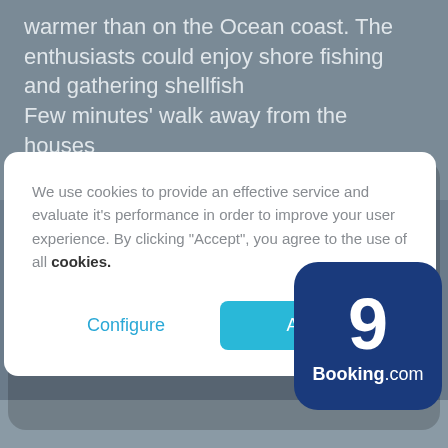warmer than on the Ocean coast. The enthusiasts could enjoy shore fishing and gathering shellfish
Few minutes' walk away from the houses
We use cookies to provide an effective service and evaluate it's performance in order to improve your user experience. By clicking "Accept", you agree to the use of all cookies.
Configure
Accept
[Figure (logo): Booking.com score badge showing the number 9 on a dark navy blue rounded square background with Booking.com branding text below]